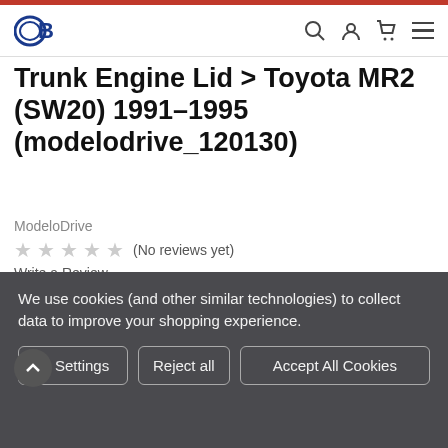OB (logo) with search, user, cart, menu icons
Trunk Engine Lid > Toyota MR2 (SW20) 1991-1995 (modelodrive_120130)
ModeloDrive
★★★★★ (No reviews yet)
Write a Review
Was: $1,282.00
Now: $922.00
We use cookies (and other similar technologies) to collect data to improve your shopping experience.
Settings  Reject all  Accept All Cookies